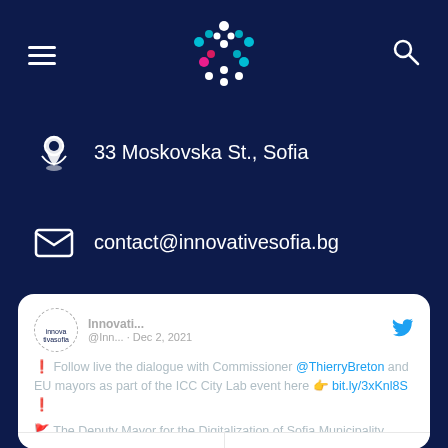[Figure (logo): Innovative Sofia logo with colorful dots forming a tree/flower shape on dark blue background]
33 Moskovska St., Sofia
contact@innovativesofia.bg
[Figure (screenshot): Embedded tweet from Innovative Sofia (@Inn...) dated Dec 2, 2021. Text: Follow live the dialogue with Commissioner @ThierryBreton and EU mayors as part of the ICC City Lab event here bit.ly/3xKnl8S. The Deputy Mayor for the Digitalization of Sofia Municipality Gencho Kerezov will take an active part of the discussion.]